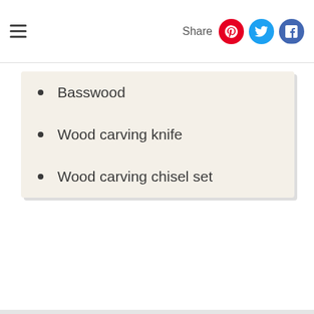Share
Basswood
Wood carving knife
Wood carving chisel set